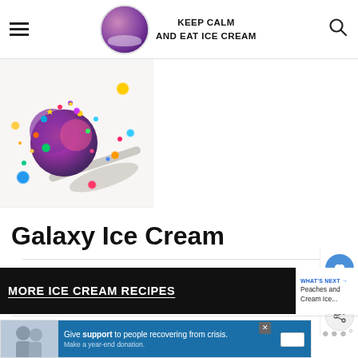KEEP CALM AND EAT ICE CREAM
[Figure (photo): Close-up photo of a pink/magenta scoop of galaxy ice cream with colorful sprinkles on a white plate with a spoon]
Galaxy Ice Cream
[Figure (other): More Ice Cream Recipes banner link with What's Next - Peaches and Cream Ice... sidebar]
[Figure (other): Advertisement: Give support to people recovering from crisis. Make a year-end donation.]